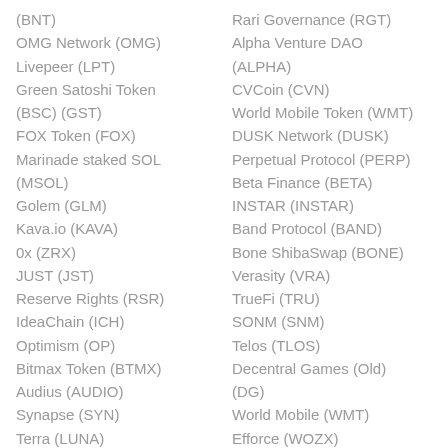(BNT)
OMG Network (OMG)
Livepeer (LPT)
Green Satoshi Token (BSC) (GST)
FOX Token (FOX)
Marinade staked SOL (MSOL)
Golem (GLM)
Kava.io (KAVA)
0x (ZRX)
JUST (JST)
Reserve Rights (RSR)
IdeaChain (ICH)
Optimism (OP)
Bitmax Token (BTMX)
Audius (AUDIO)
Synapse (SYN)
Terra (LUNA)
Rari Governance (RGT)
Alpha Venture DAO (ALPHA)
CVCoin (CVN)
World Mobile Token (WMT)
DUSK Network (DUSK)
Perpetual Protocol (PERP)
Beta Finance (BETA)
INSTAR (INSTAR)
Band Protocol (BAND)
Bone ShibaSwap (BONE)
Verasity (VRA)
TrueFi (TRU)
SONM (SNM)
Telos (TLOS)
Decentral Games (Old) (DG)
World Mobile (WMT)
Efforce (WOZX)